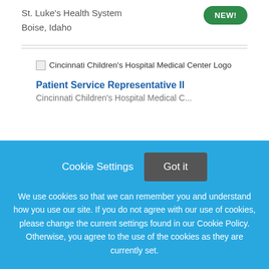St. Luke's Health System
Boise, Idaho
[Figure (logo): Cincinnati Children's Hospital Medical Center Logo]
Patient Service Representative II
Cincinnati Children's Hospital Medical Center
Cookie Settings  Got it

We use cookies so that we can remember you and understand how you use our site. If you do not agree with our use of cookies, please change the current settings found in our Cookie Policy. Otherwise, you agree to the use of the cookies as they are currently set.